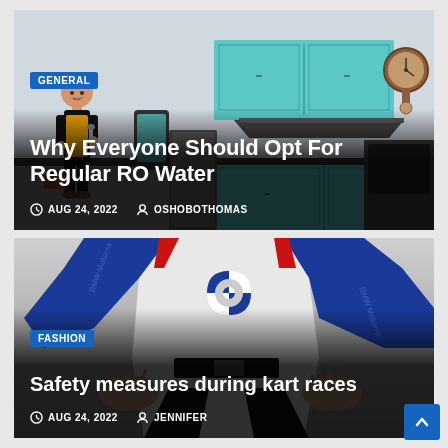[Figure (illustration): Blog card with kitchen illustration background showing a handyman character, kitchen cabinets, and appliances. Contains category badge, title, date and author metadata.]
GENERAL
Why Everyone Should Opt For Regular RO Water
AUG 24, 2022  OSHOBOTHOMAS
[Figure (photo): Blog card with photo of a person in a BMW Motorrad racing suit. Contains category badge, title, date and author metadata.]
FASHION
Safety measures during kart races
AUG 24, 2022  JENNIFER